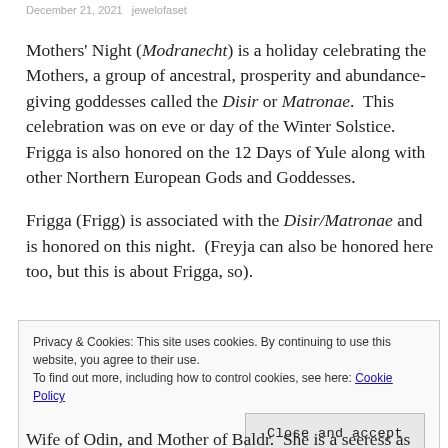December 21, 2021   jewelofaset
Mothers' Night (Modranecht) is a holiday celebrating the Mothers, a group of ancestral, prosperity and abundance-giving goddesses called the Disir or Matronae.  This celebration was on eve or day of the Winter Solstice. Frigga is also honored on the 12 Days of Yule along with other Northern European Gods and Goddesses.
Frigga (Frigg) is associated with the Disir/Matronae and is honored on this night.  (Freyja can also be honored here too, but this is about Frigga, so).
Privacy & Cookies: This site uses cookies. By continuing to use this website, you agree to their use.
To find out more, including how to control cookies, see here: Cookie Policy
Close and accept
Wife of Odin, and Mother of Baldr.  She is a seeress as well